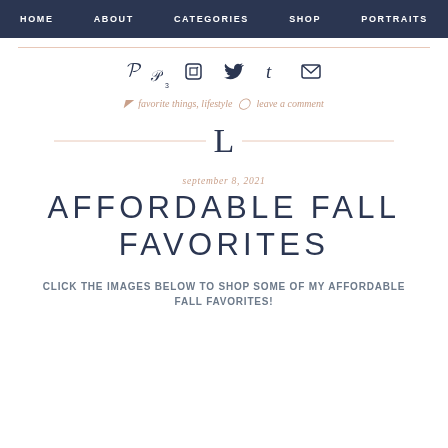HOME  ABOUT  CATEGORIES  SHOP  PORTRAITS
[Figure (other): Social media icons row: Pinterest (with badge 3), Facebook, Twitter, Tumblr, Email envelope]
favorite things, lifestyle  leave a comment
[Figure (logo): Decorative letter L with diagonal line through it, blog logo]
september 8, 2021
AFFORDABLE FALL FAVORITES
CLICK THE IMAGES BELOW TO SHOP SOME OF MY AFFORDABLE FALL FAVORITES!